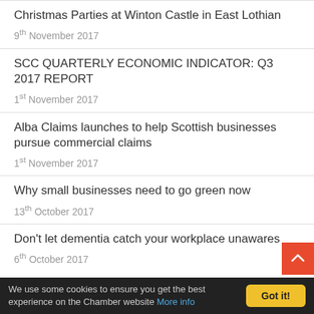Christmas Parties at Winton Castle in East Lothian
9th November 2017
SCC QUARTERLY ECONOMIC INDICATOR: Q3 2017 REPORT
1st November 2017
Alba Claims launches to help Scottish businesses pursue commercial claims
1st November 2017
Why small businesses need to go green now
13th October 2017
Don’t let dementia catch your workplace unawares
6th October 2017
We use some cookies to ensure you get the best experience on the Chamber website More info  Got it!